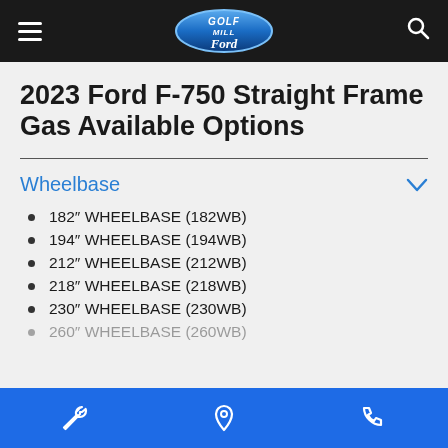Golf Mill Ford — navigation bar with hamburger menu, logo, and search icon
2023 Ford F-750 Straight Frame Gas Available Options
Wheelbase
182" WHEELBASE (182WB)
194" WHEELBASE (194WB)
212" WHEELBASE (212WB)
218" WHEELBASE (218WB)
230" WHEELBASE (230WB)
260" WHEELBASE (260WB)
Bottom action bar with wrench, location pin, and phone icons